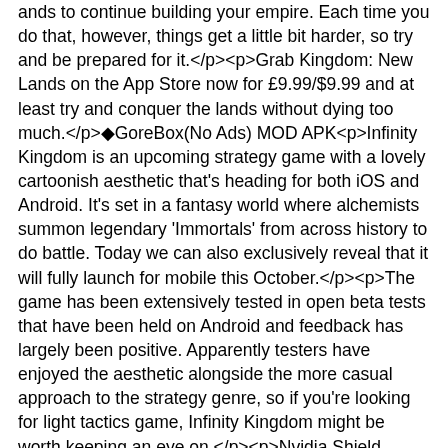ands to continue building your empire. Each time you do that, however, things get a little bit harder, so try and be prepared for it.</p><p>Grab Kingdom: New Lands on the App Store now for £9.99/$9.99 and at least try and conquer the lands without dying too much.</p>◆GoreBox(No Ads) MOD APK<p>Infinity Kingdom is an upcoming strategy game with a lovely cartoonish aesthetic that's heading for both iOS and Android. It's set in a fantasy world where alchemists summon legendary 'Immortals' from across history to do battle. Today we can also exclusively reveal that it will fully launch for mobile this October.</p><p>The game has been extensively tested in open beta tests that have been held on Android and feedback has largely been positive. Apparently testers have enjoyed the aesthetic alongside the more casual approach to the strategy genre, so if you're looking for light tactics game, Infinity Kingdom might be worth keeping an eye on.</p><p>Nvidia Shield already has an impressive library of titles, ranging from The Talos Principle to Doom 3, and today that library has expanded with the release of four new additions. These